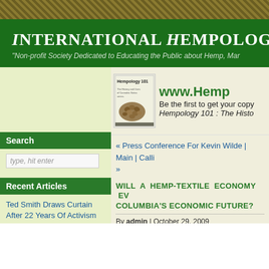International Hempology 101 So
"Non-profit Society Dedicated to Educating the Public about Hemp, Mar
[Figure (photo): Book cover for Hempology 101 with hemp seeds on cover, next to www.Hemp text and 'Be the first to get your copy Hempology 101 : The Histo']
Search
Recent Articles
Ted Smith Draws Curtain After 22 Years Of Activism
« Press Conference For Kevin Wilde | Main | Calli »
WILL A HEMP-TEXTILE ECONOMY EV COLUMBIA'S ECONOMIC FUTURE?
By admin | October 29, 2009
http://www.allvoices.com/contributed-news/45068